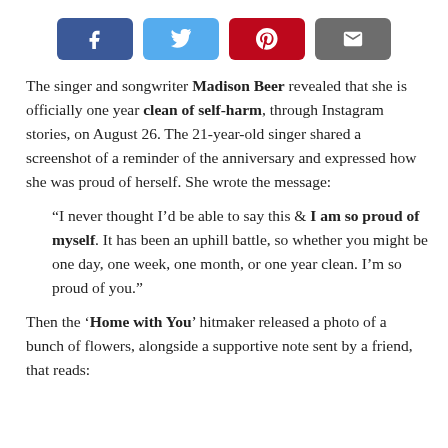[Figure (other): Social share buttons row: Facebook (blue), Twitter (light blue), Pinterest (red/dark red), Email (grey)]
The singer and songwriter Madison Beer revealed that she is officially one year clean of self-harm, through Instagram stories, on August 26. The 21-year-old singer shared a screenshot of a reminder of the anniversary and expressed how she was proud of herself. She wrote the message:
“I never thought I’d be able to say this & I am so proud of myself. It has been an uphill battle, so whether you might be one day, one week, one month, or one year clean. I’m so proud of you.”
Then the ‘Home with You’ hitmaker released a photo of a bunch of flowers, alongside a supportive note sent by a friend, that reads: